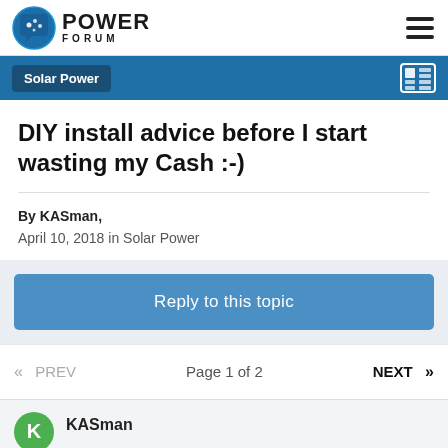POWER FORUM
Solar Power
DIY install advice before I start wasting my Cash :-)
By KASman, April 10, 2018 in Solar Power
Reply to this topic
« PREV  Page 1 of 2  NEXT »
KASman